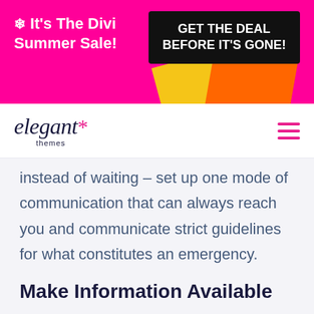[Figure (infographic): Hot pink promotional banner for Divi Summer Sale with yellow and orange decorative shapes. Left side: snowflake icon and text 'It's The Divi Summer Sale!'. Right side: black box with text 'GET THE DEAL BEFORE IT'S GONE!']
elegant themes navigation logo and hamburger menu
instead of waiting – set up one mode of communication that can always reach you and communicate strict guidelines for what constitutes an emergency.
Make Information Available
Since you'll be limiting how much interaction you have with your audience,